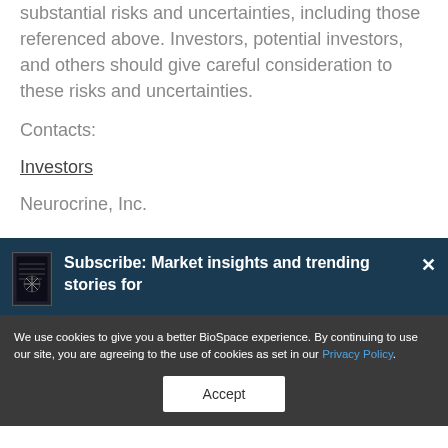substantial risks and uncertainties, including those referenced above. Investors, potential investors, and others should give careful consideration to these risks and uncertainties.
Contacts:
Investors
Neurocrine, Inc.
[Figure (screenshot): Subscribe banner overlay on dark blue background with book/magazine icon and text 'Subscribe: Market insights and trending stories for']
We use cookies to give you a better BioSpace experience. By continuing to use our site, you are agreeing to the use of cookies as set in our Privacy Policy.
Accept